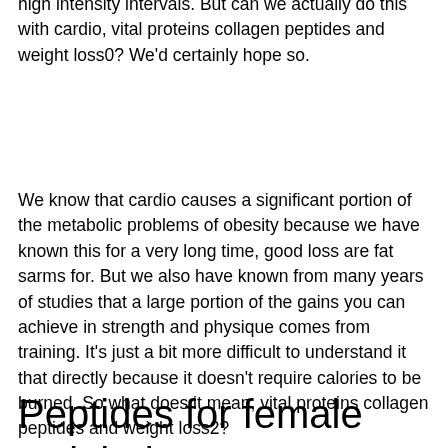high intensity intervals. But can we actually do this with cardio, vital proteins collagen peptides and weight loss0? We'd certainly hope so.
We know that cardio causes a significant portion of the metabolic problems of obesity because we have known this for a very long time, good loss are fat sarms for. But we also have known from many years of studies that a large portion of the gains you can achieve in strength and physique comes from training. It's just a bit more difficult to understand it that directly because it doesn't require calories to be burned. So what does it mean, vital proteins collagen peptides and weight loss2?
Peptides for female weight loss